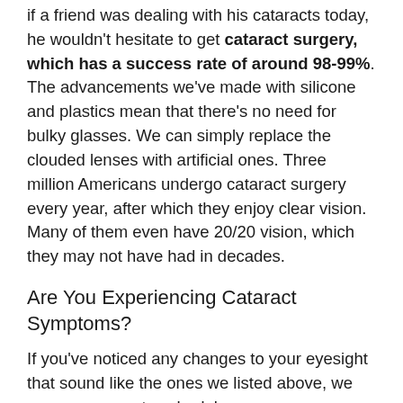if a friend was dealing with his cataracts today, he wouldn't hesitate to get cataract surgery, which has a success rate of around 98-99%. The advancements we've made with silicone and plastics mean that there's no need for bulky glasses. We can simply replace the clouded lenses with artificial ones. Three million Americans undergo cataract surgery every year, after which they enjoy clear vision. Many of them even have 20/20 vision, which they may not have had in decades.
Are You Experiencing Cataract Symptoms?
If you've noticed any changes to your eyesight that sound like the ones we listed above, we encourage you to schedule an eye exam. Thanks to modern medicine and surgical advancements, there's no reason to suffer from vision loss due to a cause that is so safe and easy to treat.